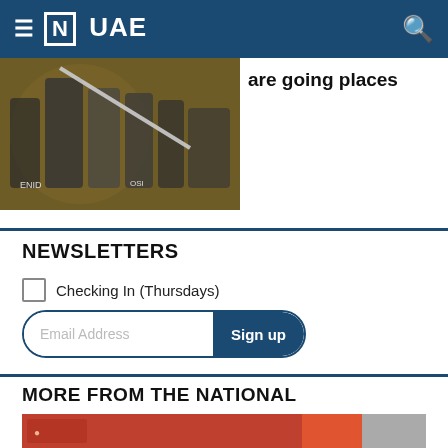≡ [N] UAE
[Figure (photo): Black and white photo of multiple athletes, possibly runners, against a yellow background]
are going places
NEWSLETTERS
Checking In (Thursdays)
Email Address  Sign up
MORE FROM THE NATIONAL
[Figure (photo): Photo partially visible at bottom, showing people in orange/red colors]